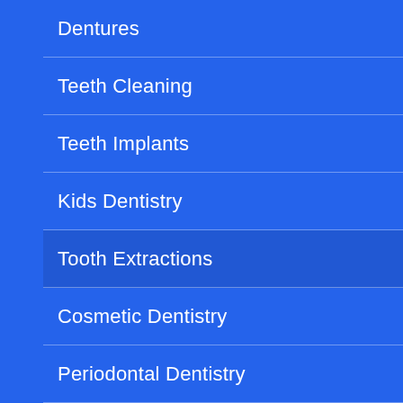Dentures
Teeth Cleaning
Teeth Implants
Kids Dentistry
Tooth Extractions
Cosmetic Dentistry
Periodontal Dentistry